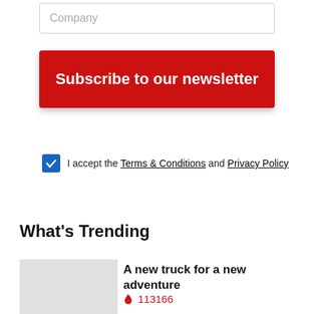Company
Subscribe to our newsletter
I accept the Terms & Conditions and Privacy Policy
What's Trending
A new truck for a new adventure
🔥 113166